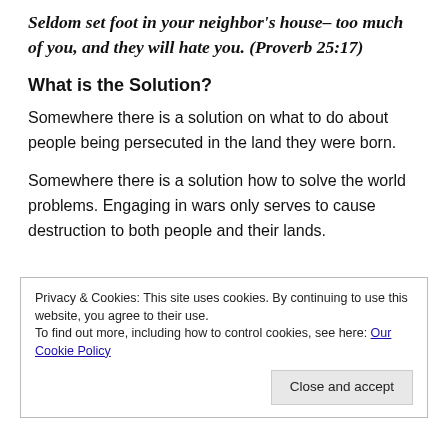Seldom set foot in your neighbor's house– too much of you, and they will hate you. (Proverb 25:17)
What is the Solution?
Somewhere there is a solution on what to do about people being persecuted in the land they were born.
Somewhere there is a solution how to solve the world problems. Engaging in wars only serves to cause destruction to both people and their lands.
Privacy & Cookies: This site uses cookies. By continuing to use this website, you agree to their use.
To find out more, including how to control cookies, see here: Our Cookie Policy